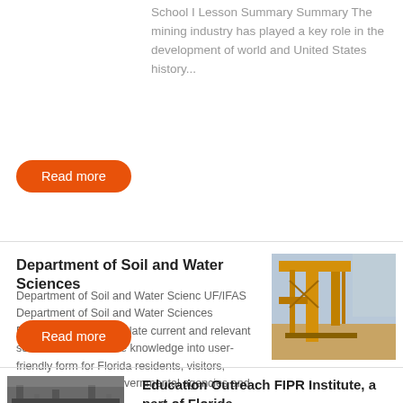School I Lesson Summary Summary The mining industry has played a key role in the development of world and United States history...
[Figure (other): Orange 'Read more' button]
Department of Soil and Water Sciences
Department of Soil and Water Scienc UF/IFAS Department of Soil and Water Sciences Extension faculty translate current and relevant soil and water science knowledge into user-friendly form for Florida residents, visitors, industry, business, governmental agencies and county agents...
[Figure (photo): A yellow industrial crane or mining equipment structure photographed in a desert landscape]
[Figure (other): Orange 'Read more' button]
[Figure (photo): A black and white photo of industrial/construction infrastructure]
Education Outreach FIPR Institute, a part of Florida ,